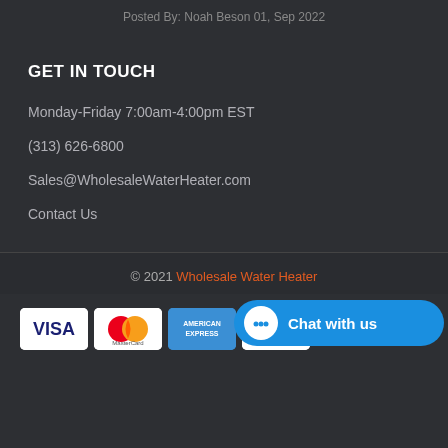Posted By: Noah Beson 01, Sep 2022
GET IN TOUCH
Monday-Friday 7:00am-4:00pm EST
(313) 626-6800
Sales@WholesaleWaterHeater.com
Contact Us
© 2021 Wholesale Water Heater
[Figure (other): Payment method logos: VISA, MasterCard, American Express, PayPal, and a Chat with us button overlay]